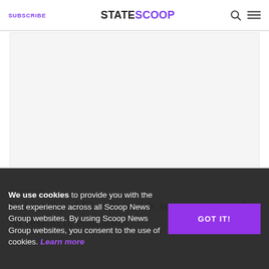SUBSCRIBE | STATESCOOP
[Figure (photo): Large image placeholder area for article hero image]
RESEARCH
University of Florida builds supercomputer for AI research, education
We use cookies to provide you with the best experience across all Scoop News Group websites. By using Scoop News Group websites, you consent to the use of cookies. Learn more
GOT IT!